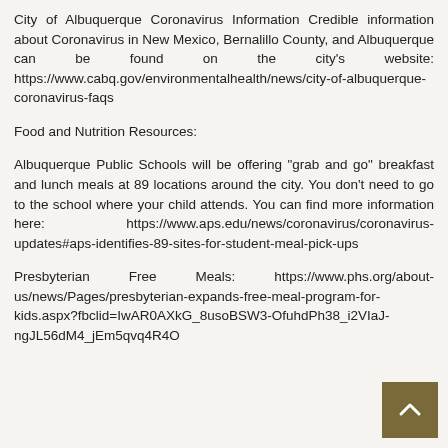City of Albuquerque Coronavirus Information Credible information about Coronavirus in New Mexico, Bernalillo County, and Albuquerque can be found on the city's website: https://www.cabq.gov/environmentalhealth/news/city-of-albuquerque-coronavirus-faqs
Food and Nutrition Resources:
Albuquerque Public Schools will be offering "grab and go" breakfast and lunch meals at 89 locations around the city. You don't need to go to the school where your child attends. You can find more information here: https://www.aps.edu/news/coronavirus/coronavirus-updates#aps-identifies-89-sites-for-student-meal-pick-ups
Presbyterian Free Meals: https://www.phs.org/about-us/news/Pages/presbyterian-expands-free-meal-program-for-kids.aspx?fbclid=IwAR0AXkG_8usoBSW3-OfuhdPh38_i2VIaJ-ngJL56dM4_jEm5qvq4R4O